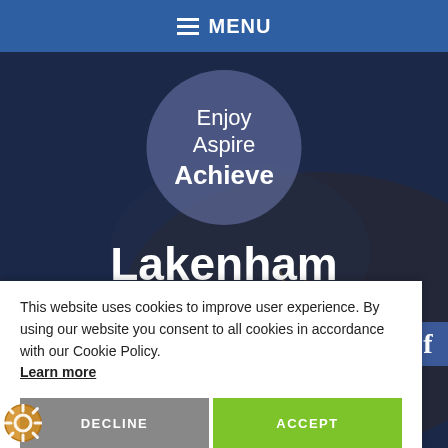MENU
[Figure (screenshot): School website hero banner with children's hands doing craft work, overlaid with a semi-transparent circular badge containing the school motto 'Enjoy Aspire Achieve' and the school name 'Lakenham Primary School and Nursery']
Enjoy Aspire Achieve
Lakenham
Primary School and Nursery
This website uses cookies to improve user experience. By using our website you consent to all cookies in accordance with our Cookie Policy. Learn more
DECLINE
ACCEPT